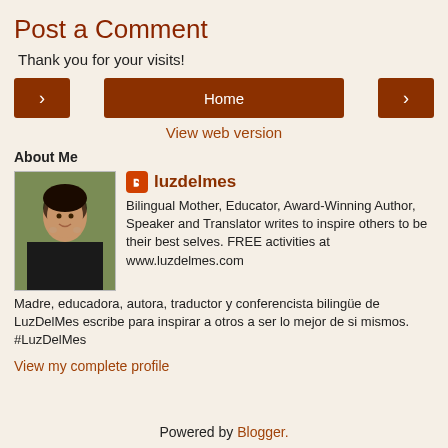Post a Comment
Thank you for your visits!
[Figure (other): Navigation buttons row: left arrow button, Home button, right arrow button]
View web version
About Me
[Figure (photo): Profile photo of luzdelmes - woman with dark hair]
luzdelmes
Bilingual Mother, Educator, Award-Winning Author, Speaker and Translator writes to inspire others to be their best selves. FREE activities at www.luzdelmes.com Madre, educadora, autora, traductor y conferencista bilingüe de LuzDelMes escribe para inspirar a otros a ser lo mejor de si mismos. #LuzDelMes
View my complete profile
Powered by Blogger.